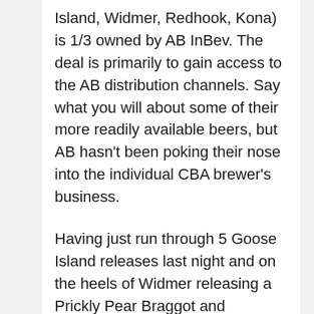Island, Widmer, Redhook, Kona) is 1/3 owned by AB InBev. The deal is primarily to gain access to the AB distribution channels. Say what you will about some of their more readily available beers, but AB hasn't been poking their nose into the individual CBA brewer's business.
Having just run through 5 Goose Island releases last night and on the heels of Widmer releasing a Prickly Pear Braggot and Redhook announcing a double IPA I think it's fair to say that these breweries are still producing craft beer and some rather interesting ones at that.